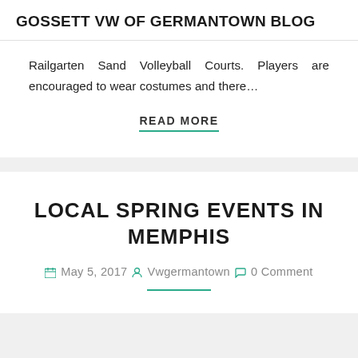GOSSETT VW OF GERMANTOWN BLOG
Railgarten Sand Volleyball Courts. Players are encouraged to wear costumes and there…
READ MORE
LOCAL SPRING EVENTS IN MEMPHIS
May 5, 2017  Vwgermantown  0 Comment